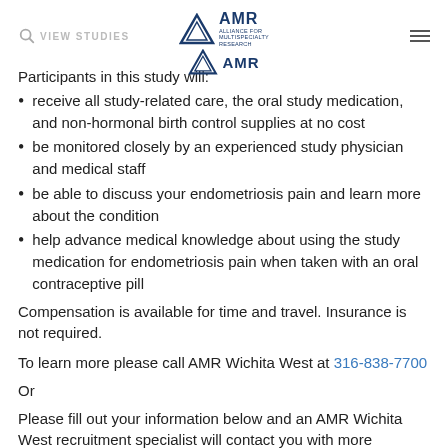VIEW STUDIES | AMR logo
receive all study-related care, the oral study medication, and non-hormonal birth control supplies at no cost
be monitored closely by an experienced study physician and medical staff
be able to discuss your endometriosis pain and learn more about the condition
help advance medical knowledge about using the study medication for endometriosis pain when taken with an oral contraceptive pill
Compensation is available for time and travel. Insurance is not required.
To learn more please call AMR Wichita West at 316-838-7700
Or
Please fill out your information below and an AMR Wichita West recruitment specialist will contact you with more information for this study.
The information you provide is entered in our secure,